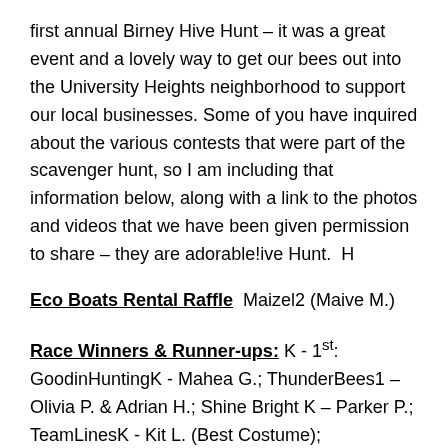first annual Birney Hive Hunt – it was a great event and a lovely way to get our bees out into the University Heights neighborhood to support our local businesses. Some of you have inquired about the various contests that were part of the scavenger hunt, so I am including that information below, along with a link to the photos and videos that we have been given permission to share – they are adorable!ive Hunt.  H
Eco Boats Rental Raffle  Maizel2 (Maive M.)
Race Winners & Runner-ups: K - 1st: GoodinHuntingK - Mahea G.; ThunderBees1 – Olivia P. & Adrian H.; Shine Bright K – Parker P.; TeamLinesK - Kit L. (Best Costume);
2nd – 3rd: Mysterious MacKinnon Insect Society3 - Sadie & Moira M.; Veeh-lociraptors3 - Leo & Gavin V.; What's The